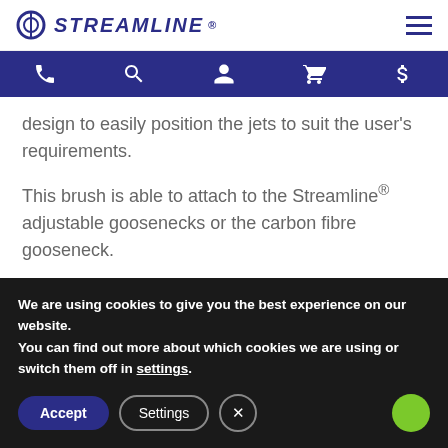STREAMLINE
design to easily position the jets to suit the user's requirements.
This brush is able to attach to the Streamline® adjustable goosenecks or the carbon fibre gooseneck.
Don't forget to add one of the Streamline® pencil or
We are using cookies to give you the best experience on our website.
You can find out more about which cookies we are using or switch them off in settings.